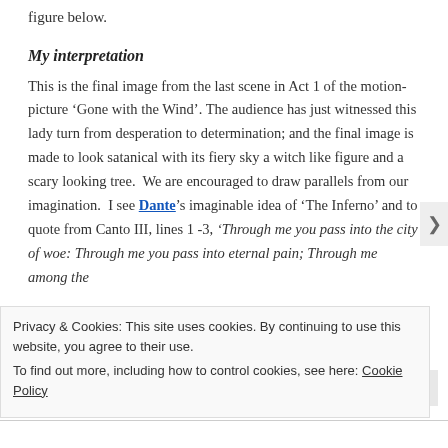figure below.
My interpretation
This is the final image from the last scene in Act 1 of the motion-picture ‘Gone with the Wind’. The audience has just witnessed this lady turn from desperation to determination; and the final image is made to look satanical with its fiery sky a witch like figure and a scary looking tree.  We are encouraged to draw parallels from our imagination.  I see Dante’s imaginable idea of ‘The Inferno’ and to quote from Canto III, lines 1 -3, ‘Through me you pass into the city of woe: Through me you pass into eternal pain; Through me among the
Privacy & Cookies: This site uses cookies. By continuing to use this website, you agree to their use.
To find out more, including how to control cookies, see here: Cookie Policy
Close and accept